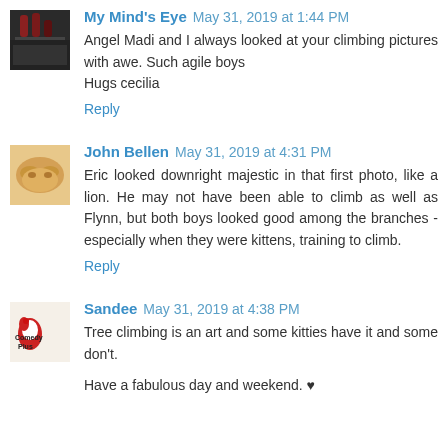[Figure (photo): Avatar image for My Mind's Eye commenter - dark background with bottles]
My Mind's Eye May 31, 2019 at 1:44 PM
Angel Madi and I always looked at your climbing pictures with awe. Such agile boys
Hugs cecilia
Reply
[Figure (photo): Avatar image for John Bellen commenter - orange cat sleeping]
John Bellen May 31, 2019 at 4:31 PM
Eric looked downright majestic in that first photo, like a lion. He may not have been able to climb as well as Flynn, but both boys looked good among the branches - especially when they were kittens, training to climb.
Reply
[Figure (photo): Avatar image for Sandee commenter - Comedy Plus logo]
Sandee May 31, 2019 at 4:38 PM
Tree climbing is an art and some kitties have it and some don't.

Have a fabulous day and weekend. ♥